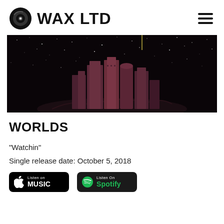WAX LTD
[Figure (photo): Dark cityscape with silhouetted buildings against a night sky filled with stars, moody dark tone with slight purple/red hue on buildings]
WORLDS
“Watchin”
Single release date: October 5, 2018
[Figure (logo): Listen on Apple Music badge (black badge with Apple logo and text)]
[Figure (logo): Listen on Spotify badge (dark badge with Spotify logo and text)]